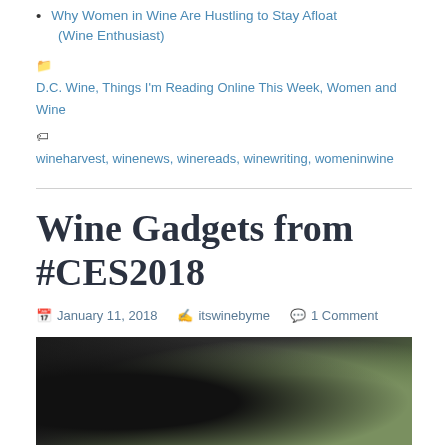Why Women in Wine Are Hustling to Stay Afloat (Wine Enthusiast)
Categories: D.C. Wine, Things I'm Reading Online This Week, Women and Wine
Tags: wineharvest, winenews, winereads, winewriting, womeninwine
Wine Gadgets from #CES2018
January 11, 2018  itswinebyme  1 Comment
[Figure (photo): Close-up photo of a hand holding a wine gadget device, with blurred green background]